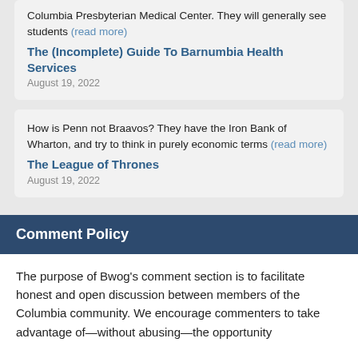Columbia Presbyterian Medical Center. They will generally see students (read more)
The (Incomplete) Guide To Barnumbia Health Services
August 19, 2022
How is Penn not Braavos? They have the Iron Bank of Wharton, and try to think in purely economic terms (read more)
The League of Thrones
August 19, 2022
Comment Policy
The purpose of Bwog's comment section is to facilitate honest and open discussion between members of the Columbia community. We encourage commenters to take advantage of—without abusing—the opportunity